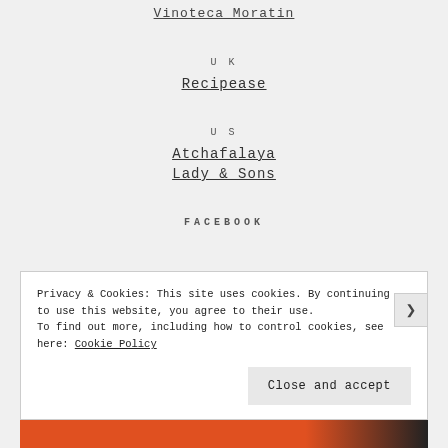Vinoteca Moratin
UK
Recipease
US
Atchafalaya
Lady & Sons
FACEBOOK
Privacy & Cookies: This site uses cookies. By continuing to use this website, you agree to their use. To find out more, including how to control cookies, see here: Cookie Policy
Close and accept